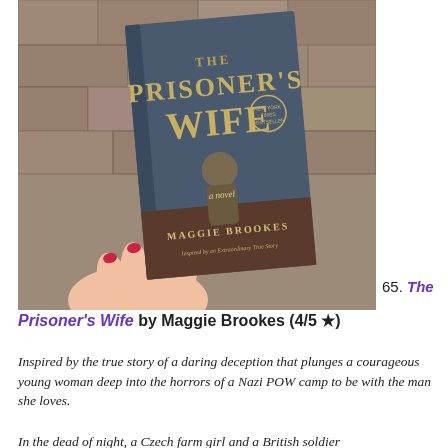[Figure (photo): A hand with red nail polish holding a copy of 'The Prisoner's Wife' by Maggie Brookes against a stone wall background. The book cover shows a woman in period clothing with the title in large gold/white text.]
65. The
The Prisoner's Wife by Maggie Brookes (4/5 ★)
Inspired by the true story of a daring deception that plunges a courageous young woman deep into the horrors of a Nazi POW camp to be with the man she loves.
In the dead of night, a Czech farm girl and a British soldier